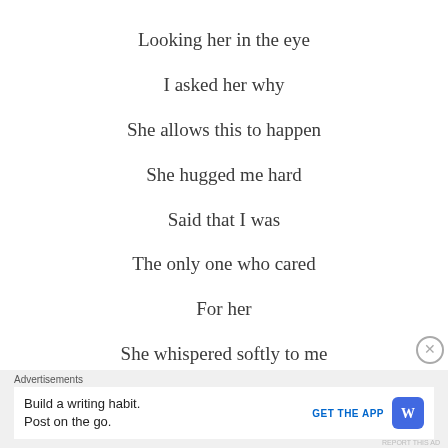Looking her in the eye
I asked her why
She allows this to happen
She hugged me hard
Said that I was
The only one who cared
For her
She whispered softly to me
Advertisements
Build a writing habit. Post on the go. GET THE APP